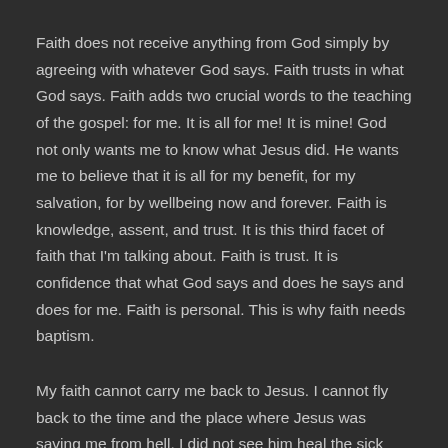Faith does not receive anything from God simply by agreeing with whatever God says. Faith trusts in what God says. Faith adds two crucial words to the teaching of the gospel: for me. It is all for me! It is mine! God not only wants me to know what Jesus did. He wants me to believe that it is all for my benefit, for my salvation, for by wellbeing now and forever. Faith is knowledge, assent, and trust. It is this third facet of faith that I'm talking about. Faith is trust. It is confidence that what God says and does he says and does for me. Faith is personal. This is why faith needs baptism.
My faith cannot carry me back to Jesus. I cannot fly back to the time and the place where Jesus was saving me from hell. I did not see him heal the sick and raise the dead and preach with such authority